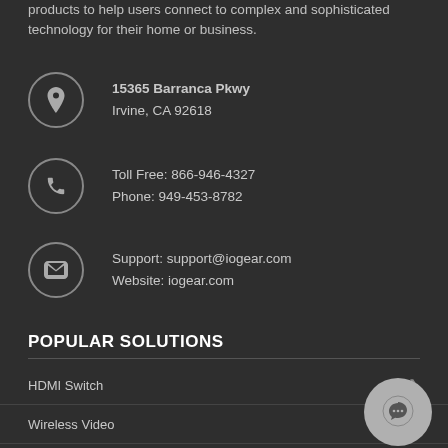products to help users connect to complex and sophisticated technology for their home or business.
15365 Barranca Pkwy
Irvine, CA 92618
Toll Free: 866-946-4327
Phone: 949-453-8782
Support: support@iogear.com
Website: iogear.com
POPULAR SOLUTIONS
HDMI Switch
Wireless Video
Video Splitter
HDMI Extender